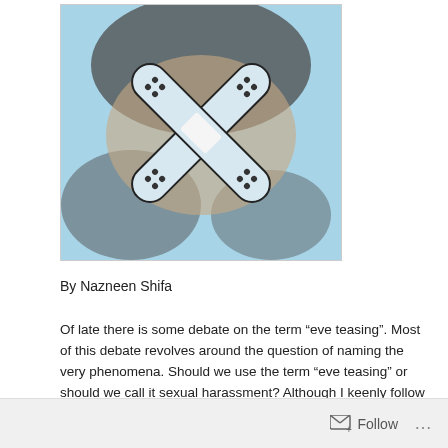[Figure (photo): Close-up photograph on a light blue background showing two crossed bandage/plaster strips arranged in an X shape on what appears to be skin or a surface, with dark hair visible in the background.]
By Nazneen Shifa
Of late there is some debate on the term “eve teasing”. Most of this debate revolves around the question of naming the very phenomena. Should we use the term “eve teasing” or should we call it sexual harassment? Although I keenly follow the debate and discussion for and against this term in order to get a societal perspective in these matters, I must say that I certainly wish to use the term sexual harassment (in Bengali either Jounohoirani or Jouno nipiron) as “eve teasing” does not explain what actually happens generally against women in South Asia.
Follow ...